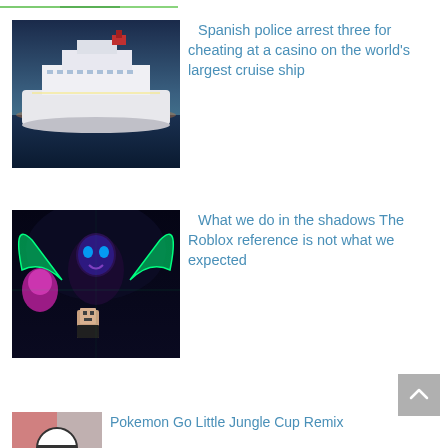[Figure (photo): Partial top image strip showing green/colorful content, cropped at top of page]
[Figure (photo): Aerial photo of a large cruise ship at sea during dusk/evening]
Spanish police arrest three for cheating at a casino on the world's largest cruise ship
[Figure (photo): Scene from 'What we do in the shadows' with neon/dark fantasy characters and a Roblox character]
What we do in the shadows The Roblox reference is not what we expected
[Figure (photo): Small Pokemon Go related image, partially visible at bottom]
Pokemon Go Little Jungle Cup Remix